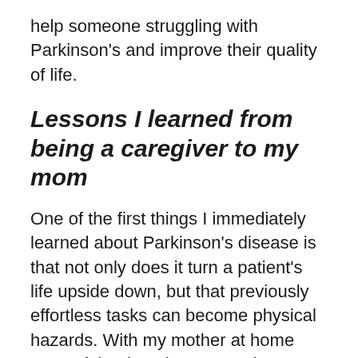help someone struggling with Parkinson's and improve their quality of life.
Lessons I learned from being a caregiver to my mom
One of the first things I immediately learned about Parkinson's disease is that not only does it turn a patient's life upside down, but that previously effortless tasks can become physical hazards. With my mother at home most of the time, it was very important that I became educated on the potential dangers within the household. Without a doubt, stairs have posed one of the biggest threats to my mom since she has gotten Parkinson's.